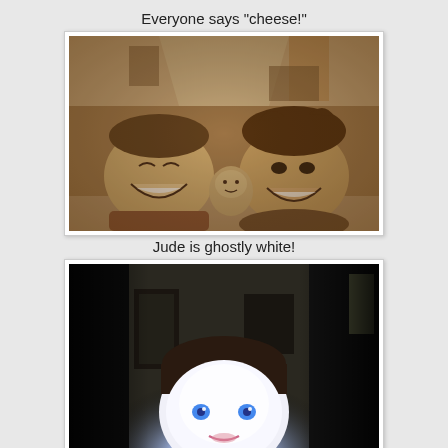Everyone says "cheese!"
[Figure (photo): Sepia-toned photo of two young children smiling at the camera. A boy on the left and a girl on the right, with a small baby or doll held between them. Indoor setting with carpeted living room in background.]
Jude is ghostly white!
[Figure (photo): Color photo of a young child looking at a screen or device, his face illuminated to appear ghostly white/overexposed with vivid blue eyes visible, dark room background with living room furniture.]